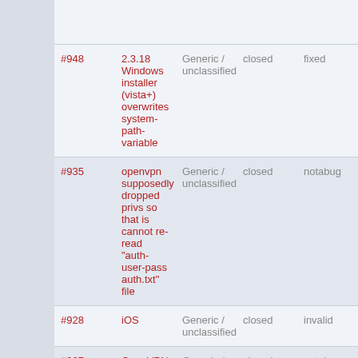| ID | Title | Category | Status | Resolution |
| --- | --- | --- | --- | --- |
| #948 | 2.3.18 Windows installer (vista+) overwrites system-path-variable | Generic / unclassified | closed | fixed |
| #935 | openvpn supposedly dropped privs so that is cannot re-read "auth-user-pass auth.txt" file | Generic / unclassified | closed | notabug |
| #928 | iOS | Generic / unclassified | closed | invalid |
| #907 | OpenVPN server is rejecting clients due to self signed cert error | Generic / unclassified | closed | notabug |
| #803 | OpenVPN 2.4.0 fails to build on Mac OS | Generic / unclassified | closed | notabug |
| #899 | Initialization Sequence Completed Issue #1 | Generic / unclassified | closed | notabug |
| #889 | OpenVPN 2.4.2 fails to build on... | Generic / unclassified | closed | worksfo |